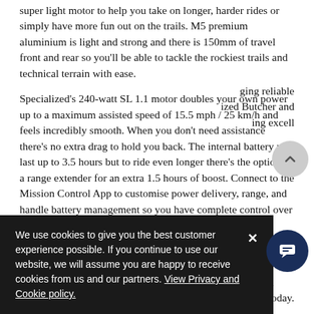super light motor to help you take on longer, harder rides or simply have more fun out on the trails. M5 premium aluminium is light and strong and there is 150mm of travel front and rear so you'll be able to tackle the rockiest trails and technical terrain with ease.
Specialized's 240-watt SL 1.1 motor doubles your own power up to a maximum assisted speed of 15.5 mph / 25 km/h and feels incredibly smooth. When you don't need assistance there's no extra drag to hold you back. The internal battery will last up to 3.5 hours but to ride even longer there's the option of a range extender for an extra 1.5 hours of boost. Connect to the Mission Control App to customise power delivery, range, and handle battery management so you have complete control over your ride.
Built-up with SRAM NX Eagle components, the 1x12-speed drivetrain eliminates the need for a front derailleur while providing you with plenty of range. Shifting is precise and quiet, and braking powerful and modulated in dry, wet or muddy conditions. This ...ging reliable ...ized Butcher and ...ing excell
We use cookies to give you the best customer experience possible. If you continue to use our website, we will assume you are happy to receive cookies from us and our partners. View Privacy and Cookie policy.
n bikes today.